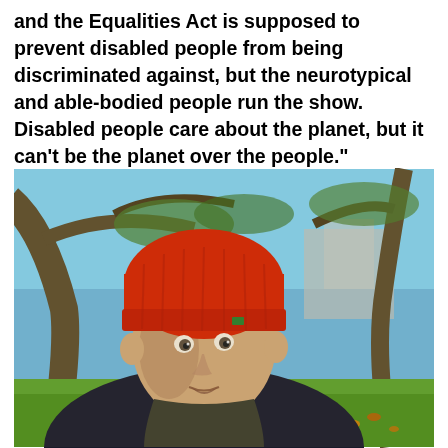and the Equalities Act is supposed to prevent disabled people from being discriminated against, but the neurotypical and able-bodied people run the show. Disabled people care about the planet, but it can't be the planet over the people."
[Figure (photo): A young person wearing a bright red knitted beanie hat and a dark jacket, photographed outdoors in a park setting with large tree branches and green grass visible in the background on a sunny day.]